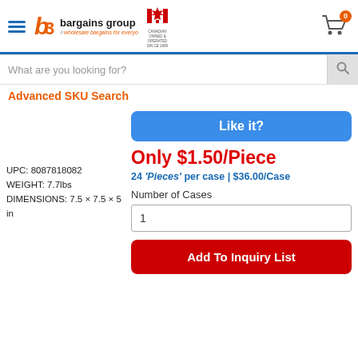bargains group - wholesale bargains for everyone
What are you looking for?
Advanced SKU Search
UPC: 8087818082
WEIGHT: 7.7lbs
DIMENSIONS: 7.5 × 7.5 × 5 in
Like it?
Only $1.50/Piece
24 'Pieces' per case | $36.00/Case
Number of Cases
1
Add To Inquiry List